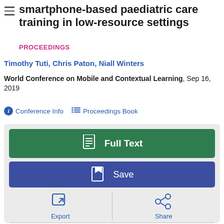smartphone-based paediatric care training in low-resource settings
PROCEEDINGS
Timothy Tuti, Chris Paton, Niall Winters
World Conference on Mobile and Contextual Learning, Sep 16, 2019
Conference Info   Proceedings Book
[Figure (screenshot): Action buttons panel: Full Text (green), Save (blue/purple), Export and Share buttons, OpenURL link]
OpenURL